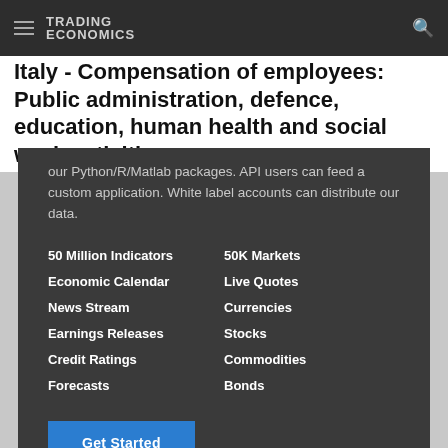TRADING ECONOMICS
Italy - Compensation of employees: Public administration, defence, education, human health and social work activities
our Python/R/Matlab packages. API users can feed a custom application. White label accounts can distribute our data.
50 Million Indicators
Economic Calendar
News Stream
Earnings Releases
Credit Ratings
Forecasts
50K Markets
Live Quotes
Currencies
Stocks
Commodities
Bonds
Get Started